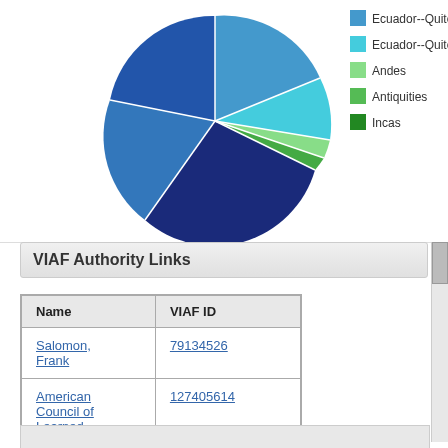[Figure (pie-chart): Pie chart showing subject distribution with legend listing Ecuador--Quito Region, Ecuador--Quito, Andes, Antiquities, Incas]
VIAF Authority Links
| Name | VIAF ID |
| --- | --- |
| Salomon, Frank | 79134526 |
| American Council of Learned Societies | 127405614 |
Editions
Displaying 1 to 25 of 36